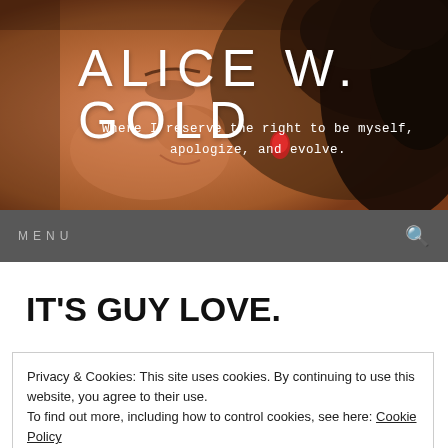[Figure (photo): Close-up photo of a smiling woman with dark curly hair and a red earring, used as website header background]
ALICE W. GOLD
Where I reserve the right to be myself, apologize, and evolve.
MENU
IT'S GUY LOVE.
Privacy & Cookies: This site uses cookies. By continuing to use this website, you agree to their use.
To find out more, including how to control cookies, see here: Cookie Policy
Close and accept